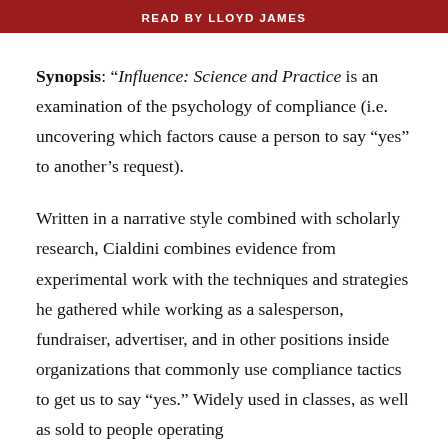READ BY LLOYD JAMES
Synopsis: “Influence: Science and Practice is an examination of the psychology of compliance (i.e. uncovering which factors cause a person to say “yes” to another’s request).
Written in a narrative style combined with scholarly research, Cialdini combines evidence from experimental work with the techniques and strategies he gathered while working as a salesperson, fundraiser, advertiser, and in other positions inside organizations that commonly use compliance tactics to get us to say “yes.” Widely used in classes, as well as sold to people operating